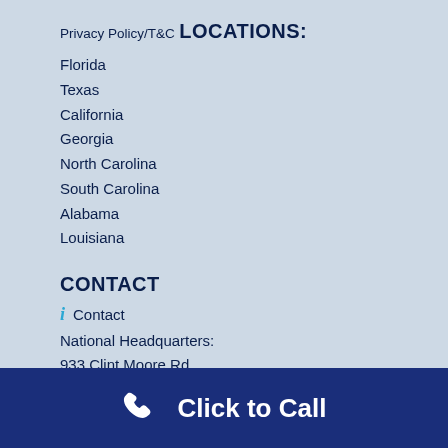Privacy Policy/T&C
LOCATIONS:
Florida
Texas
California
Georgia
North Carolina
South Carolina
Alabama
Louisiana
CONTACT
Contact
National Headquarters:
933 Clint Moore Rd.
Boca Raton, FL 33487
info@gosolarpower.com
800-530-9597
Click to Call